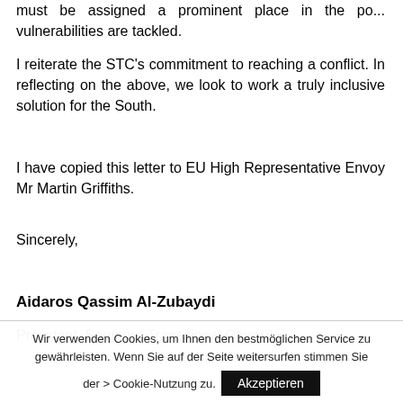must be assigned a prominent place in the po... vulnerabilities are tackled.
I reiterate the STC's commitment to reaching a conflict. In reflecting on the above, we look to work a truly inclusive solution for the South.
I have copied this letter to EU High Representative Envoy Mr Martin Griffiths.
Sincerely,
Aidaros Qassim Al-Zubaydi
President. Southern Transitional Council
Wir verwenden Cookies, um Ihnen den bestmöglichen Service zu gewährleisten. Wenn Sie auf der Seite weitersurfen stimmen Sie der > Cookie-Nutzung zu. Akzeptieren